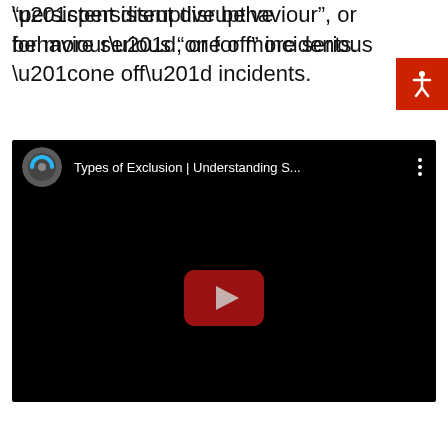“persistent disruptive behaviour”, or for more serious “one off” incidents.
[Figure (screenshot): YouTube video embed thumbnail showing a video titled 'Types of Exclusion | Understanding S...' with a YouTube play button in the center on a black background. A channel icon (circular, grey with blue/teal accent) is visible in the top-left of the video player bar.]